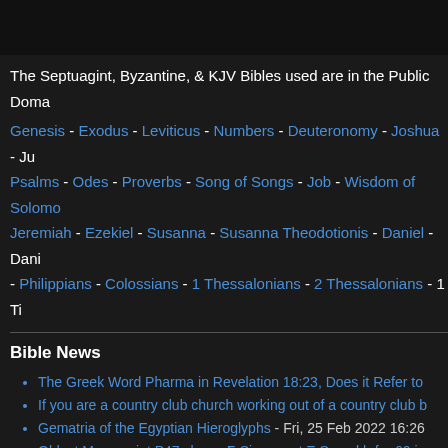The Septuagint, Byzantine, & KJV Bibles used are in the Public Domain
Genesis - Exodus - Leviticus - Numbers - Deuteronomy - Joshua - Ju Psalms - Odes - Proverbs - Song of Songs - Job - Wisdom of Solomo Jeremiah - Ezekiel - Susanna - Susanna Theodotionis - Daniel - Dani - Philippians - Colossians - 1 Thessalonians - 2 Thessalonians - 1 Ti
Bible News
The Greek Word Pharma in Revelation 18:23, Does it Refer to
If you are a country club church working out of a country club b
Gematria of the Egyptian Hieroglyphs - Fri, 25 Feb 2022 16:26
Oldest Manuscript P47 shows Σ Sigma not Ξ Samekh for 60 in
What does biblical “inerrancy” mean? | Richard Ostling - Pathe
DC museum unveils rare 1,000-year-old Hebrew Bible - The Ti
Ancient Canaanite temple with statues of Baal found in souther
Inside the Lachish Temple, the Earliest Example of the Letter S
Israeli scholars discover corrections, erasures, revisions in olde
Museum of the Bible returns hand-written gospels looted from
Bible study: Ancient Jewish manuscript analysed using state-o
Is a Long-Dismissed Forgery Actually the Oldest Known Biblica